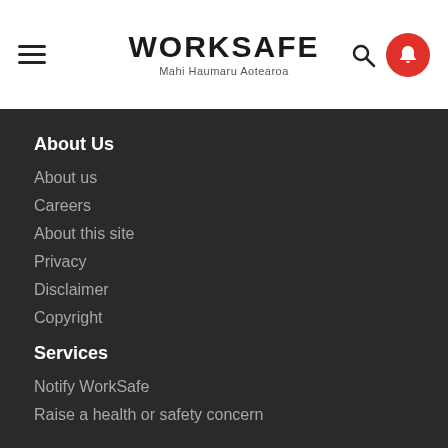[Figure (logo): WorkSafe New Zealand logo with hamburger menu, search icon, and notification bell]
About Us
About us
Careers
About this site
Privacy
Disclaimer
Copyright
Services
Notify WorkSafe
Raise a health or safety concern